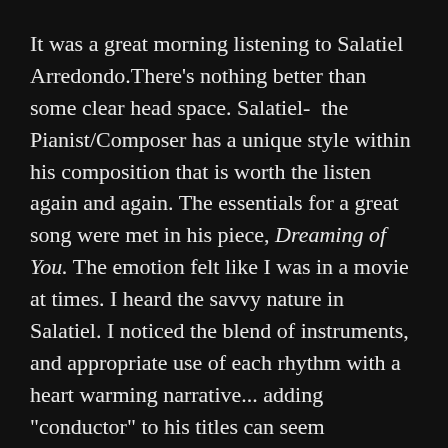It was a great morning listening to Salatiel Arredondo.There's nothing better than some clear head space. Salatiel-  the Pianist/Composer has a unique style within his composition that is worth the listen again and again. The essentials for a great song were met in his piece, Dreaming of You. The emotion felt like I was in a movie at times. I heard the savvy nature in Salatiel. I noticed the blend of instruments, and appropriate use of each rhythm with a heart warming narrative... adding "conductor" to his titles can seem appropriate at times.
His album, An Enchanted Journey, was as advertised.
The passion in songs like One Love and Fall Into Season, expressed a pleasing tone. Isabel sounded more like a personal record, but can undoubtedly be applicable to